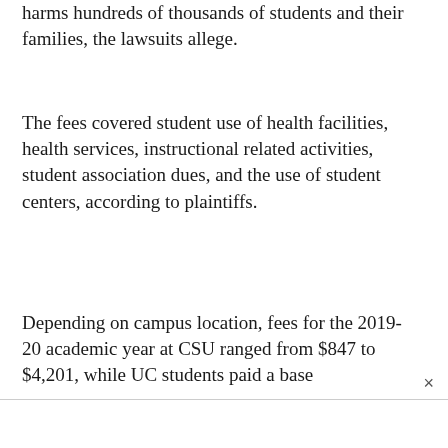harms hundreds of thousands of students and their families, the lawsuits allege.
The fees covered student use of health facilities, health services, instructional related activities, student association dues, and the use of student centers, according to plaintiffs.
Depending on campus location, fees for the 2019-20 academic year at CSU ranged from $847 to $4,201, while UC students paid a base ×